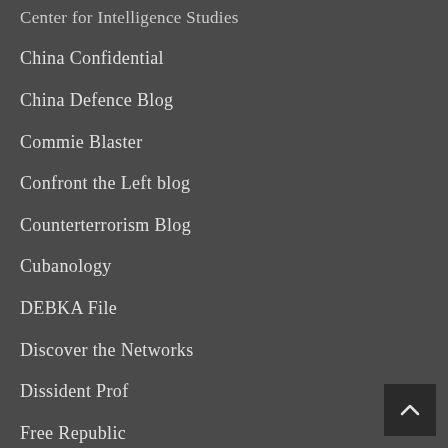Center for Intelligence Studies
China Confidential
China Defence Blog
Commie Blaster
Confront the Left blog
Counterterrorism Blog
Cubanology
DEBKA File
Discover the Networks
Dissident Prof
Free Republic
Free State Revolution